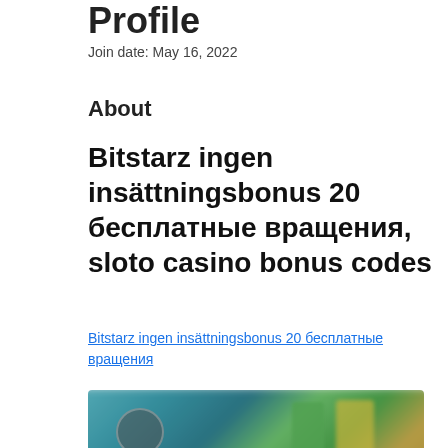Profile
Join date: May 16, 2022
About
Bitstarz ingen insättningsbonus 20 бесплатные вращения, sloto casino bonus codes
Bitstarz ingen insättningsbonus 20 бесплатные вращения
[Figure (photo): Blurred casino-themed image with characters]